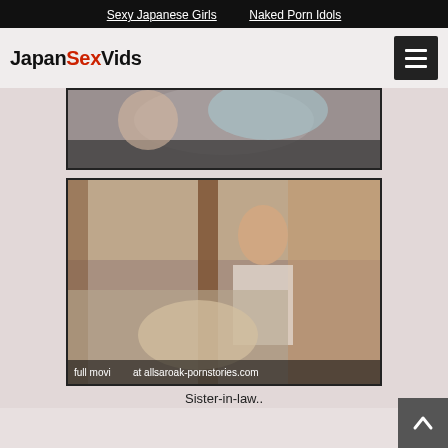Sexy Japanese Girls   Naked Porn Idols
JapanSexVids
[Figure (photo): Video thumbnail showing close-up scene]
[Figure (photo): Video thumbnail of woman peering through door with text overlay 'full movie at allsaroak-pornstories.com']
Sister-in-law..